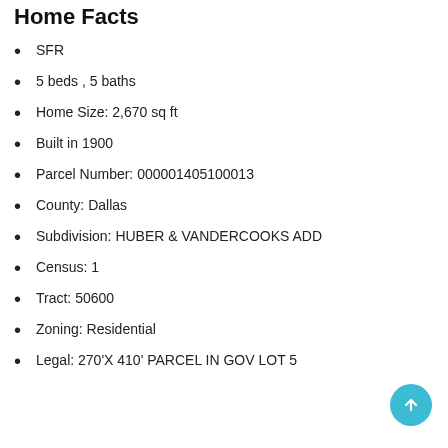Home Facts
SFR
5 beds , 5 baths
Home Size: 2,670 sq ft
Built in 1900
Parcel Number: 000001405100013
County: Dallas
Subdivision: HUBER & VANDERCOOKS ADD
Census: 1
Tract: 50600
Zoning: Residential
Legal: 270'X 410' PARCEL IN GOV LOT 5